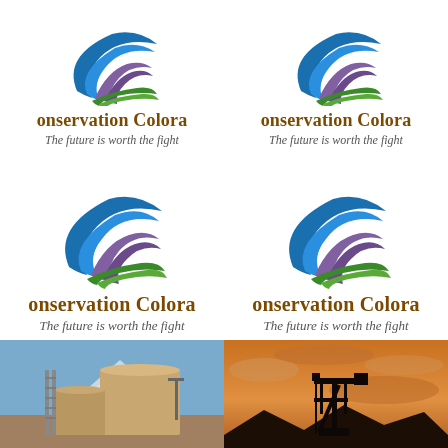[Figure (logo): Conservation Colorado logo with swoosh icon, text 'onservation Colora', tagline 'The future is worth the fight' - top left]
[Figure (logo): Conservation Colorado logo with swoosh icon, text 'onservation Colora', tagline 'The future is worth the fight' - top right]
[Figure (logo): Conservation Colorado logo with swoosh icon, text 'onservation Colora', tagline 'The future is worth the fight' - middle left]
[Figure (logo): Conservation Colorado logo with swoosh icon, text 'onservation Colora', tagline 'The future is worth the fight' - middle right]
[Figure (photo): Industrial oil storage tank facility with mountains in background, blue sky]
[Figure (photo): Oil pump jack silhouette against dramatic sunset sky]